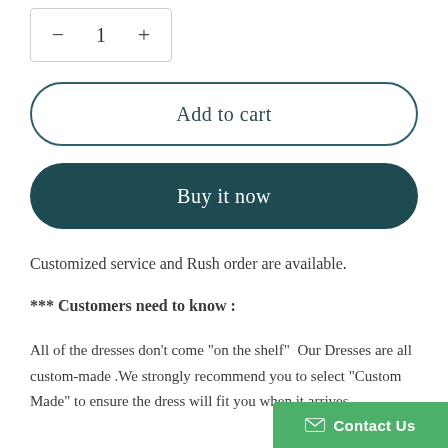[Figure (other): Quantity selector box with minus button, number 1, and plus button]
Add to cart
Buy it now
Customized service and Rush order are available.
*** Customers need to know :
All of the dresses don't come "on the shelf"  Our Dresses are all custom-made .We strongly recommend you to select "Custom Made" to ensure the dress will fit you when it arrives. .
Contact Us